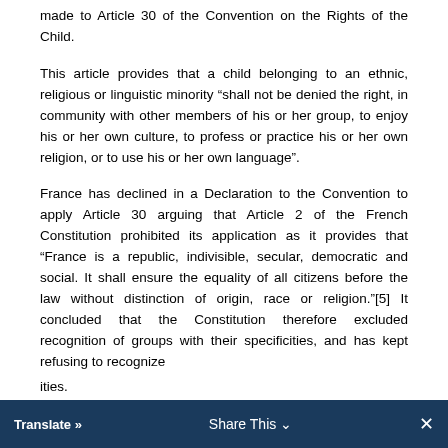made to Article 30 of the Convention on the Rights of the Child.
This article provides that a child belonging to an ethnic, religious or linguistic minority “shall not be denied the right, in community with other members of his or her group, to enjoy his or her own culture, to profess or practice his or her own religion, or to use his or her own language”.
France has declined in a Declaration to the Convention to apply Article 30 arguing that Article 2 of the French Constitution prohibited its application as it provides that “France is a republic, indivisible, secular, democratic and social. It shall ensure the equality of all citizens before the law without distinction of origin, race or religion.”[5] It concluded that the Constitution therefore excluded recognition of groups with their specificities, and has kept refusing to recognize minorities.
Translate »   Share This   ×